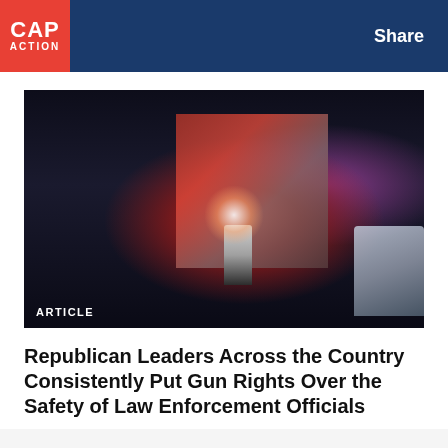CAP ACTION | Share
[Figure (photo): Night scene with police officers standing outside a building illuminated by red and purple emergency lights]
ARTICLE
Republican Leaders Across the Country Consistently Put Gun Rights Over the Safety of Law Enforcement Officials